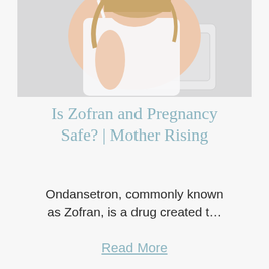[Figure (photo): A woman in a white tank top leaning over a toilet, suggesting morning sickness or nausea during pregnancy.]
Is Zofran and Pregnancy Safe? | Mother Rising
Ondansetron, commonly known as Zofran, is a drug created t…
Read More